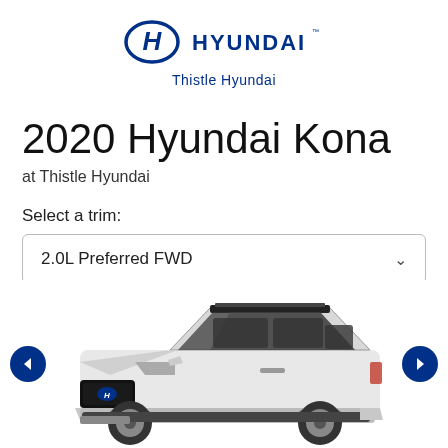[Figure (logo): Hyundai corporate logo with blue H emblem and HYUNDAI text in blue]
Thistle Hyundai
2020 Hyundai Kona
at Thistle Hyundai
Select a trim:
2.0L Preferred FWD
[Figure (photo): White 2020 Hyundai Kona SUV shown in 3/4 front view against white background, with left and right navigation arrow buttons]